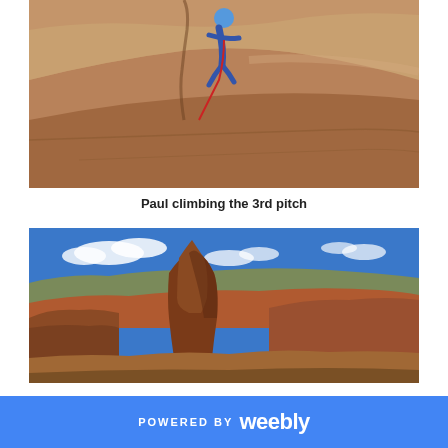[Figure (photo): Person in blue helmet rock climbing on a red sandstone face, rope visible]
Paul climbing the 3rd pitch
[Figure (photo): Aerial view of red rock canyon landscape with blue sky and white clouds, tall sandstone buttes and canyon formations visible]
POWERED BY weebly